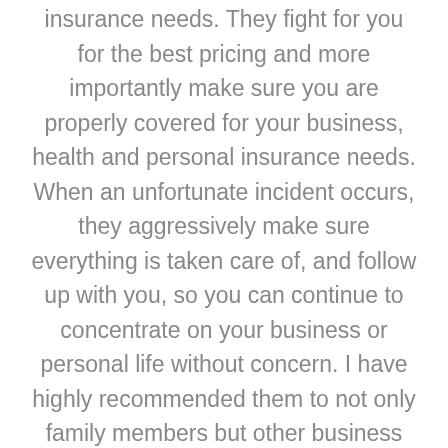insurance needs. They fight for you for the best pricing and more importantly make sure you are properly covered for your business, health and personal insurance needs. When an unfortunate incident occurs, they aggressively make sure everything is taken care of, and follow up with you, so you can continue to concentrate on your business or personal life without concern. I have highly recommended them to not only family members but other business professionals with great success. They are my one stop shop for all my